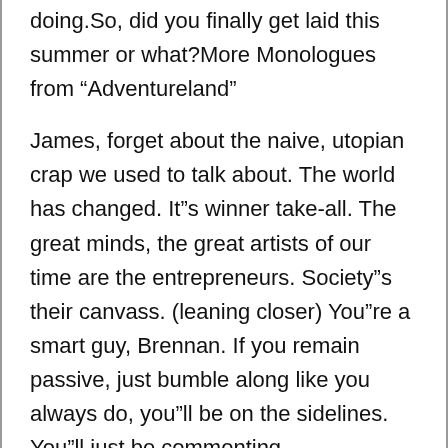doing.So, did you finally get laid this summer or what?More Monologues from “Adventureland”
James, forget about the naive, utopian crap we used to talk about. The world has changed. It”s winner take-all. The great minds, the great artists of our time are the entrepreneurs. Society”s their canvass. (leaning closer) You”re a smart guy, Brennan. If you remain passive, just bumble along like you always do, you”ll be on the sidelines. You”ll just be commenting